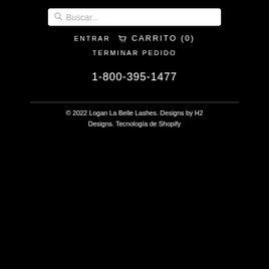[Figure (screenshot): Search bar with magnifying glass icon and placeholder text 'Buscar...']
ENTRAR  🛒 CARRITO (0)
TERMINAR PEDIDO
1-800-395-1477
© 2022 Logan La Belle Lashes. Designs by H2 Designs. Tecnología de Shopify
[Figure (logo): Payment method logos: Amex, Apple Pay, Diners Club, Discover, Meta Pay, Google Pay, Mastercard, PayPal, Shopify Pay, Venmo, Visa]